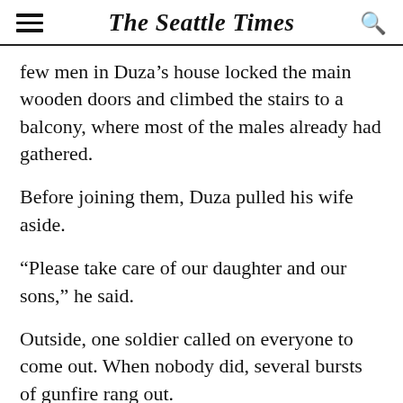The Seattle Times
few men in Duza’s house locked the main wooden doors and climbed the stairs to a balcony, where most of the males already had gathered.
Before joining them, Duza pulled his wife aside.
“Please take care of our daughter and our sons,” he said.
Outside, one soldier called on everyone to come out. When nobody did, several bursts of gunfire rang out.
Seconds later, soldiers broke down the doors and dragged shrieking mothers and children outside. The troops ordered them onto their knees, ripped off their headscarves and tore at their clothes. They